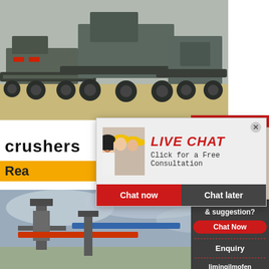[Figure (photo): Heavy industrial mobile crushers and conveyor machinery at a quarry or mining site, outdoors with sandy terrain]
crushers
Rea
[Figure (photo): Female customer service representative wearing a headset, smiling, white background]
24Hrs Online
[Figure (photo): Live chat popup with construction workers in hard hats and a smiling woman]
LIVE CHAT
Click for a Free Consultation
Chat now
Chat later
[Figure (photo): Industrial facility with conveyor belts and a tower structure under cloudy sky]
Need questions & suggestion?
Chat Now
Enquiry
limingjlmofen